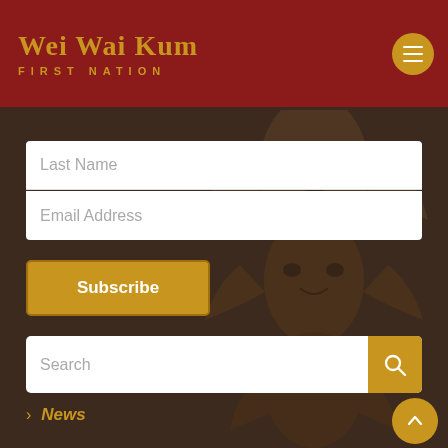Wei Wai Kum FIRST NATION
Last Name
Email Address
Subscribe
Search
News
Upcoming Events
Job Postings
CONTACT US
1-250-286-6949